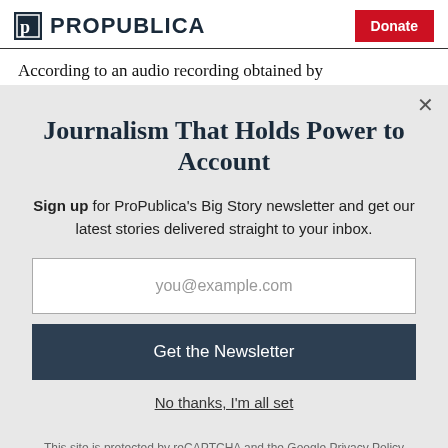ProPublica | Donate
According to an audio recording obtained by
Journalism That Holds Power to Account
Sign up for ProPublica's Big Story newsletter and get our latest stories delivered straight to your inbox.
you@example.com
Get the Newsletter
No thanks, I'm all set
This site is protected by reCAPTCHA and the Google Privacy Policy and Terms of Service apply.